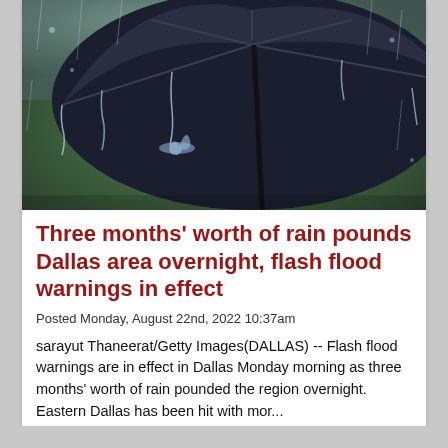[Figure (photo): Close-up photo of a dark umbrella with rain water splashing and streaming off it, blurred green background, dramatic rain scene]
Three months' worth of rain pounds Dallas area overnight, flash flood warnings in effect
Posted Monday, August 22nd, 2022 10:37am
sarayut Thaneerat/Getty Images(DALLAS) -- Flash flood warnings are in effect in Dallas Monday morning as three months' worth of rain pounded the region overnight. Eastern Dallas has been hit with mor...
Read More